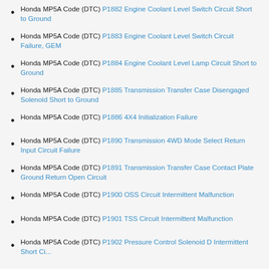Honda MP5A Code (DTC) P1882 Engine Coolant Level Switch Circuit Short to Ground
Honda MP5A Code (DTC) P1883 Engine Coolant Level Switch Circuit Failure, GEM
Honda MP5A Code (DTC) P1884 Engine Coolant Level Lamp Circuit Short to Ground
Honda MP5A Code (DTC) P1885 Transmission Transfer Case Disengaged Solenoid Short to Ground
Honda MP5A Code (DTC) P1886 4X4 Initialization Failure
Honda MP5A Code (DTC) P1890 Transmission 4WD Mode Select Return Input Circuit Failure
Honda MP5A Code (DTC) P1891 Transmission Transfer Case Contact Plate Ground Return Open Circuit
Honda MP5A Code (DTC) P1900 OSS Circuit Intermittent Malfunction
Honda MP5A Code (DTC) P1901 TSS Circuit Intermittent Malfunction
Honda MP5A Code (DTC) P1902 Pressure Control Solenoid D Intermittent Short Circuit